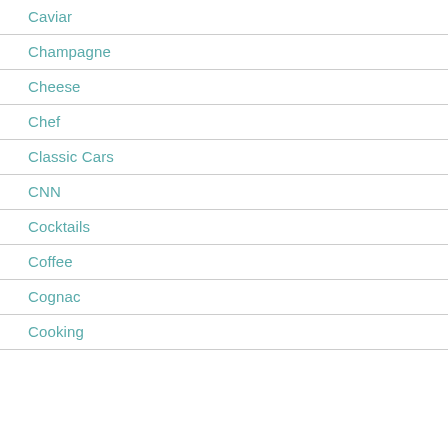Caviar
Champagne
Cheese
Chef
Classic Cars
CNN
Cocktails
Coffee
Cognac
Cooking